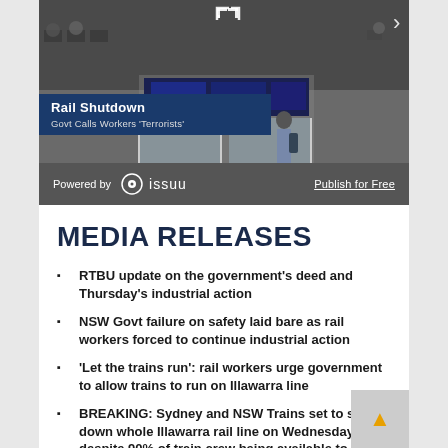[Figure (screenshot): Screenshot of Issuu embedded magazine viewer showing a rail shutdown news article. Blue banner reads 'Rail Shutdown – Govt Calls Workers Terrorists'. Grey Issuu bar at bottom with 'Powered by issuu' and 'Publish for Free'.]
MEDIA RELEASES
RTBU update on the government's deed and Thursday's industrial action
NSW Govt failure on safety laid bare as rail workers forced to continue industrial action
'Let the trains run': rail workers urge government to allow trains to run on Illawarra line
BREAKING: Sydney and NSW Trains set to shut down whole Illawarra rail line on Wednesday despite 90% of train crew being available to